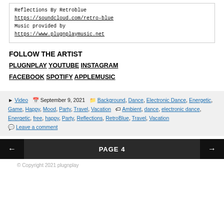Reflections By Retroblue
https://soundcloud.com/retro-blue
Music provided by
https://www.plugnplaymusic.net
FOLLOW THE ARTIST
PLUGNPLAY YOUTUBE INSTAGRAM FACEBOOK SPOTIFY APPLEMUSIC
Posted in: Video | September 9, 2021 | Categories: Background, Dance, Electronic Dance, Energetic, Game, Happy, Mood, Party, Travel, Vacation | Tags: Ambient, dance, electronic dance, Energetic, free, happy, Party, Reflections, RetroBlue, Travel, Vacation | Leave a comment
PAGE 4
© Copyright 2021 plugnplay